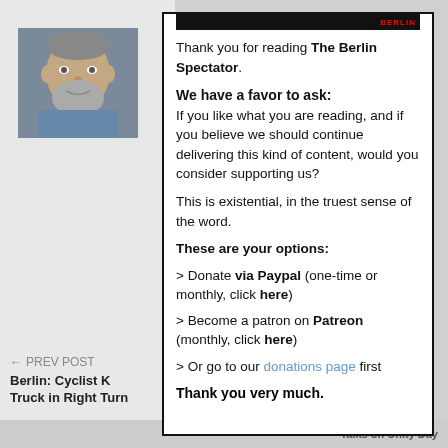[Figure (photo): Profile photo of a middle-aged man with short hair and beard, sitting in a car, wearing a blue shirt]
Thank you for reading The Berlin Spectator.
We have a favor to ask: If you like what you are reading, and if you believe we should continue delivering this kind of content, would you consider supporting us?
This is existential, in the truest sense of the word.
These are your options:
> Donate via Paypal (one-time or monthly, click here)
> Become a patron on Patreon (monthly, click here)
> Or go to our donations page first
Thank you very much.
← PREV POST  Berlin: Cyclist K Truck in Right Turn
Talks on Unity Day